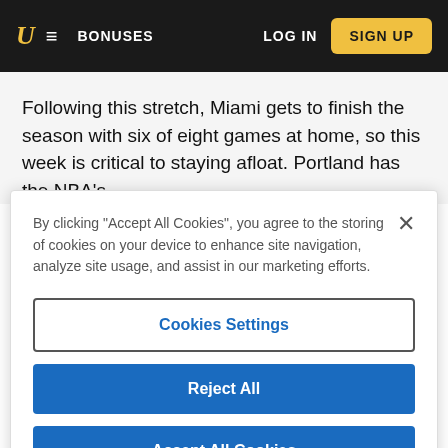U BONUSES LOG IN SIGN UP
Following this stretch, Miami gets to finish the season with six of eight games at home, so this week is critical to staying afloat. Portland has the NBA's
By clicking “Accept All Cookies”, you agree to the storing of cookies on your device to enhance site navigation, analyze site usage, and assist in our marketing efforts.
Cookies Settings
Reject All
Accept All Cookies